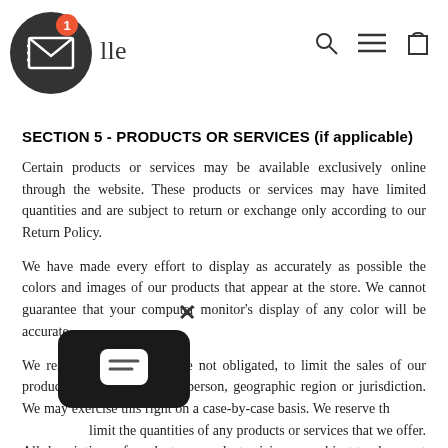lle — navigation header with mail icon, search, menu, and cart icons
SECTION 5 - PRODUCTS OR SERVICES (if applicable)
Certain products or services may be available exclusively online through the website. These products or services may have limited quantities and are subject to return or exchange only according to our Return Policy.
We have made every effort to display as accurately as possible the colors and images of our products that appear at the store. We cannot guarantee that your computer monitor's display of any color will be accurate.
We reserve the right, but are not obligated, to limit the sales of our products or Services to any person, geographic region or jurisdiction. We may exercise this right on a case-by-case basis. We reserve the right to limit the quantities of any products or services that we offer. All descriptions of products or product pricing are subject to change at anytime without notice, at the